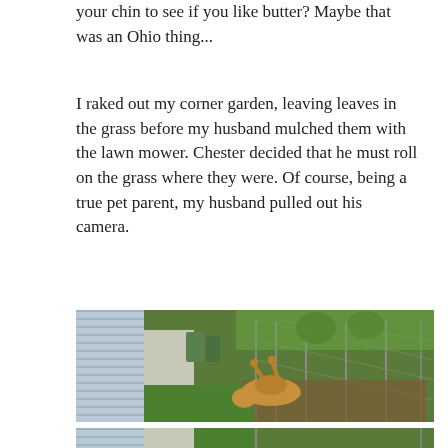your chin to see if you like butter? Maybe that was an Ohio thing...
I raked out my corner garden, leaving leaves in the grass before my husband mulched them with the lawn mower. Chester decided that he must roll on the grass where they were. Of course, being a true pet parent, my husband pulled out his camera.
[Figure (photo): A dog (Chester) rolling on its back on green grass next to a garden bed along a chain-link fence, with a house siding and trash cans visible in the background.]
[Figure (photo): Partial view of the same backyard scene, cropped at the bottom of the page.]